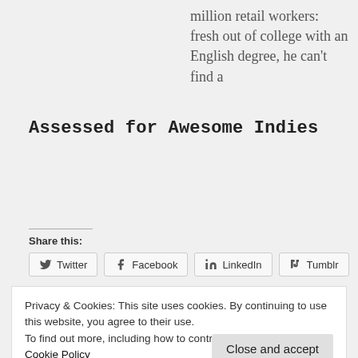million retail workers: fresh out of college with an English degree, he can't find a
Assessed for Awesome Indies
Share this:
Twitter  Facebook  LinkedIn  Tumblr
Privacy & Cookies: This site uses cookies. By continuing to use this website, you agree to their use.
To find out more, including how to control cookies, see here: Cookie Policy
Close and accept